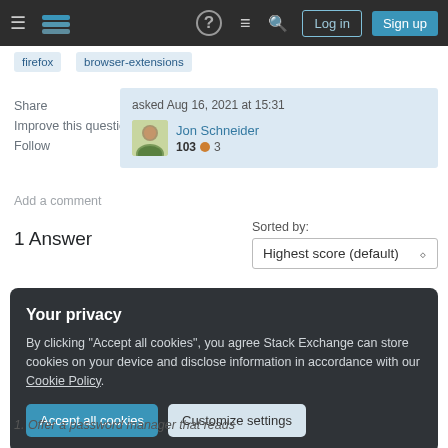Stack Exchange navigation bar with Log in and Sign up buttons
firefox
browser-extensions
Share
Improve this question
Follow
asked Aug 16, 2021 at 15:31 Jon Schneider 103 3
Add a comment
1 Answer
Sorted by: Highest score (default)
Your privacy
By clicking "Accept all cookies", you agree Stack Exchange can store cookies on your device and disclose information in accordance with our Cookie Policy.
Accept all cookies
Customize settings